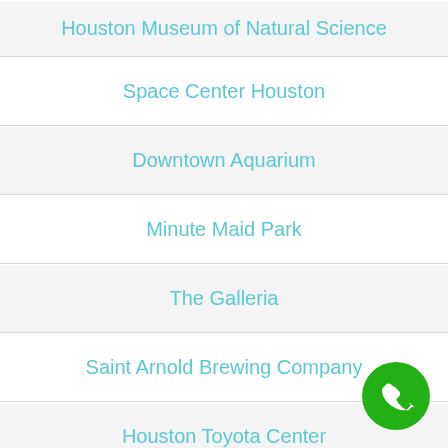Houston Museum of Natural Science
Space Center Houston
Downtown Aquarium
Minute Maid Park
The Galleria
Saint Arnold Brewing Company
Houston Toyota Center
TopGolf Houston
[Figure (illustration): Green circular phone call button with white phone icon, positioned bottom-right]